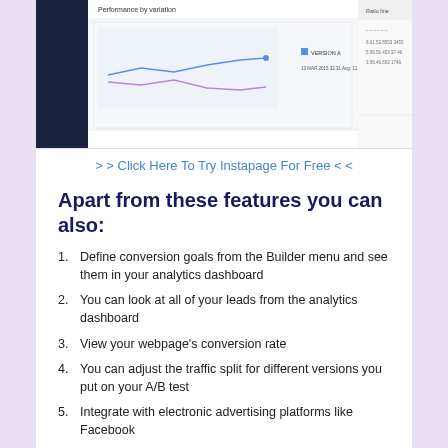[Figure (screenshot): Screenshot of an analytics dashboard showing 'Performance by variation' with line charts comparing Version A and other variants over time, with a sidebar showing statistics.]
> > Click Here To Try Instapage For Free < <
Apart from these features you can also:
Define conversion goals from the Builder menu and see them in your analytics dashboard
You can look at all of your leads from the analytics dashboard
View your webpage's conversion rate
You can adjust the traffic split for different versions you put on your A/B test
Integrate with electronic advertising platforms like Facebook